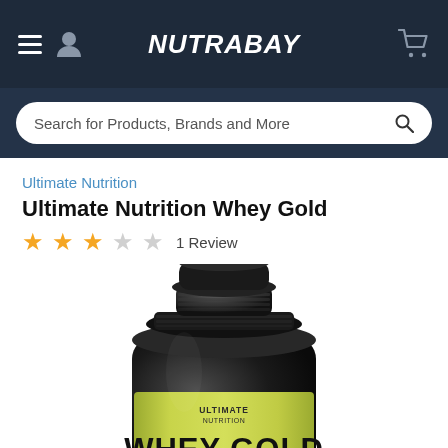NUTRABAY
Search for Products, Brands and More
Ultimate Nutrition
Ultimate Nutrition Whey Gold
★★★☆☆ 1 Review
[Figure (photo): Black supplement container with yellow label reading WHEY GOLD by Ultimate Nutrition]